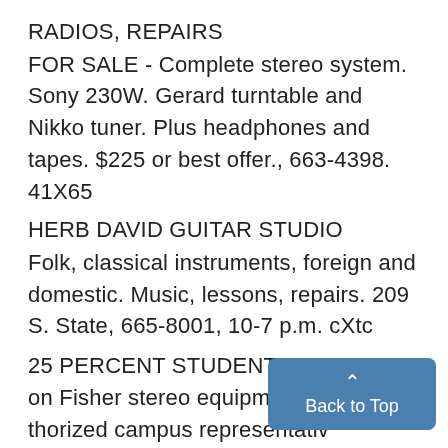RADIOS, REPAIRS
FOR SALE - Complete stereo system. Sony 230W. Gerard turntable and Nikko tuner. Plus headphones and tapes. $225 or best offer., 663-4398. 41X65
HERB DAVID GUITAR STUDIO
Folk, classical instruments, foreign and domestic. Music, lessons, repairs. 209 S. State, 665-8001, 10-7 p.m. cXtc
25 PERCENT STUDENT DISCOUNT on Fisher stereo equipment from authorized campus representative. 764-8731. 81B65